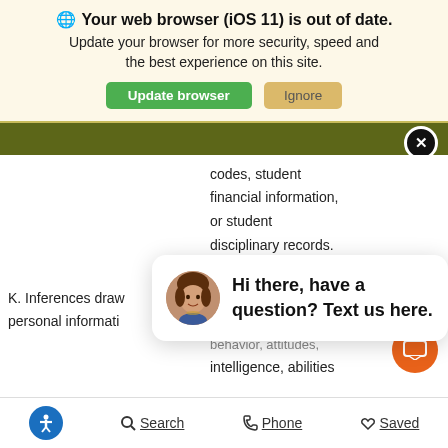[Figure (screenshot): Browser update warning banner with globe icon, bold title 'Your web browser (iOS 11) is out of date.', subtitle, and two buttons: 'Update browser' (green) and 'Ignore' (tan)]
[Figure (screenshot): Dark olive green site navigation header bar with a black close (X) circle button on the right]
codes, student financial information, or student disciplinary records.
Profile reflecting a
[Figure (screenshot): Close button (rounded gray pill shape) on the right side of the content area]
K. Inferences drawn personal informati
[Figure (screenshot): Chat popup with woman avatar photo, text: 'Hi there, have a question? Text us here.']
behavior, attitudes, intelligence, abilities and aptitudes
[Figure (screenshot): Orange circular chat icon button at bottom right]
Accessibility icon  Search  Phone  Saved